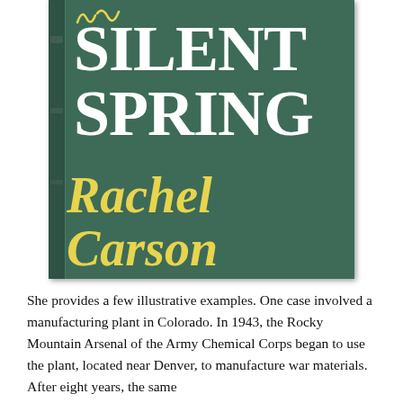[Figure (illustration): Book cover of 'Silent Spring' by Rachel Carson. Dark teal/green background with white large serif title text 'SILENT SPRING' and yellow italic serif author name 'Rachel Carson'. A small yellow decorative squiggle appears at the top left. The cover has a visible spine on the left edge.]
She provides a few illustrative examples. One case involved a manufacturing plant in Colorado. In 1943, the Rocky Mountain Arsenal of the Army Chemical Corps began to use the plant, located near Denver, to manufacture war materials. After eight years, the same